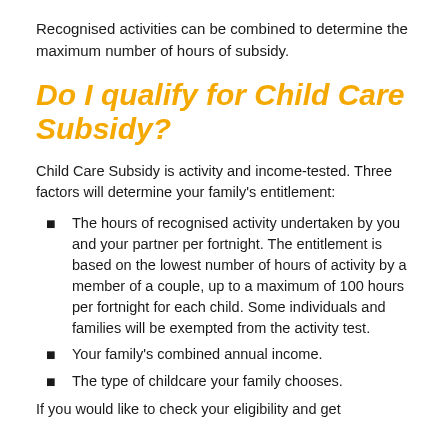Recognised activities can be combined to determine the maximum number of hours of subsidy.
Do I qualify for Child Care Subsidy?
Child Care Subsidy is activity and income-tested. Three factors will determine your family's entitlement:
The hours of recognised activity undertaken by you and your partner per fortnight. The entitlement is based on the lowest number of hours of activity by a member of a couple, up to a maximum of 100 hours per fortnight for each child. Some individuals and families will be exempted from the activity test.
Your family's combined annual income.
The type of childcare your family chooses.
If you would like to check your eligibility and get